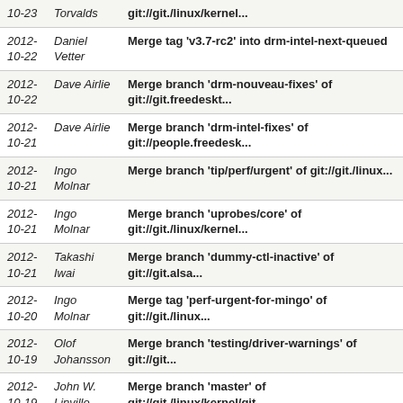| Date | Author | Commit Message |
| --- | --- | --- |
| 10-23 | Torvalds | git://git./linux/kernel... |
| 2012-
10-22 | Daniel
Vetter | Merge tag 'v3.7-rc2' into drm-intel-next-queued |
| 2012-
10-22 | Dave Airlie | Merge branch 'drm-nouveau-fixes' of git://git.freedeskt... |
| 2012-
10-21 | Dave Airlie | Merge branch 'drm-intel-fixes' of git://people.freedesk... |
| 2012-
10-21 | Ingo Molnar | Merge branch 'tip/perf/urgent' of git://git./linux... |
| 2012-
10-21 | Ingo Molnar | Merge branch 'uprobes/core' of git://git./linux/kernel... |
| 2012-
10-21 | Takashi Iwai | Merge branch 'dummy-ctl-inactive' of git://git.alsa... |
| 2012-
10-20 | Ingo Molnar | Merge tag 'perf-urgent-for-mingo' of git://git./linux... |
| 2012-
10-19 | Olof
Johansson | Merge branch 'testing/driver-warnings' of git://git... |
| 2012-
10-19 | John W.
Linville | Merge branch 'master' of git://git./linux/kernel/git... |
| 2012-
10-19 | Konrad
Rzeszutek | Merge commit 'v3.7-rc1' into stable/for-linus-3.7 |